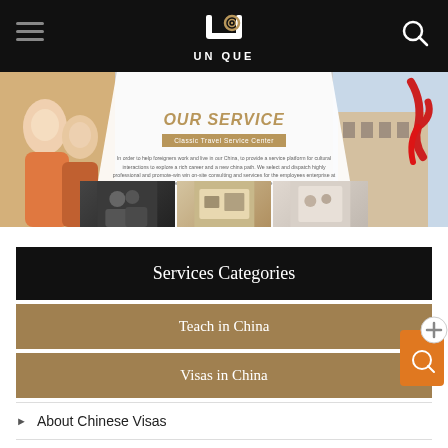[Figure (screenshot): Website navigation bar with hamburger menu, UNIQUE logo (snail icon), and search icon on black background]
[Figure (photo): Banner image with OUR SERVICE title, subtitle 'Classic Travel Service Center', description text, and photos of students, meeting room, and university building with red sculpture]
Services Categories
Teach in China
Visas in China
About Chinese Visas
Working Z visa Process